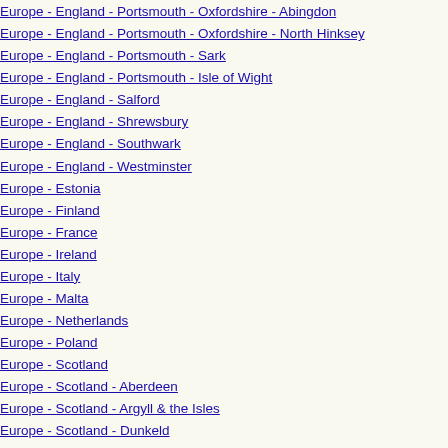Europe - England - Portsmouth - Oxfordshire - Abingdon
Europe - England - Portsmouth - Oxfordshire - North Hinksey
Europe - England - Portsmouth - Sark
Europe - England - Portsmouth - Isle of Wight
Europe - England - Salford
Europe - England - Shrewsbury
Europe - England - Southwark
Europe - England - Westminster
Europe - Estonia
Europe - Finland
Europe - France
Europe - Ireland
Europe - Italy
Europe - Malta
Europe - Netherlands
Europe - Poland
Europe - Scotland
Europe - Scotland - Aberdeen
Europe - Scotland - Argyll & the Isles
Europe - Scotland - Dunkeld
Europe - Scotland - Galloway
Europe - Scotland - Glasgow
Europe - Scotland - Glasgow - City of Glasgow
Europe - Scotland - Motherwell
Europe - Scotland - Paisley
Europe - Scotland - St Andrews & Edinburgh
Europe - Slovakia
Europe - Slovenia
Europe - Sweden
Europe - Wales
Europe - Wales - Cardiff